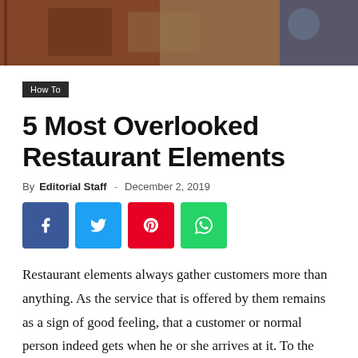[Figure (photo): Restaurant interior photo showing dimly lit dining area with wooden furniture and decorative pillows]
How To
5 Most Overlooked Restaurant Elements
By Editorial Staff - December 2, 2019
[Figure (infographic): Social share buttons: Facebook, Twitter, Pinterest, WhatsApp]
Restaurant elements always gather customers more than anything. As the service that is offered by them remains as a sign of good feeling, that a customer or normal person indeed gets when he or she arrives at it. To the side of the restaurant owner, it also seems like a very important thing to take care of. As restaurant elements